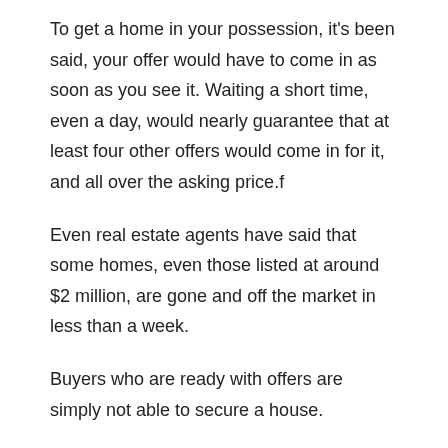To get a home in your possession, it's been said, your offer would have to come in as soon as you see it. Waiting a short time, even a day, would nearly guarantee that at least four other offers would come in for it, and all over the asking price.f
Even real estate agents have said that some homes, even those listed at around $2 million, are gone and off the market in less than a week.
Buyers who are ready with offers are simply not able to secure a house.
To put it mildly and somewhat flippantly, there are simultaneously plenty of homes and no homes at all for sale on Long Island. If you cannot find what you're looking for in Long Island, you could always consider checking out some of the many Albany apartments available as well.
What's Causing This S...